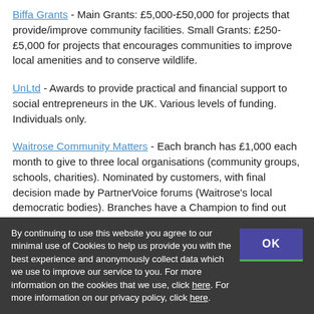Biffa Grants - Main Grants: £5,000-£50,000 for projects that provide/improve community facilities. Small Grants: £250-£5,000 for projects that encourages communities to improve local amenities and to conserve wildlife.
UnLtd - Awards to provide practical and financial support to social entrepreneurs in the UK. Various levels of funding. Individuals only.
Waitrose Community Matters - Each branch has £1,000 each month to give to three local organisations (community groups, schools, charities). Nominated by customers, with final decision made by PartnerVoice forums (Waitrose's local democratic bodies). Branches have a Champion to find out about local beneficiaries. Contact local store.
WREN - The Waste Recycling Environmental group WREN offer a Small Grant Scheme that can offer between £2,000 to £15,000 for projects that support the community
By continuing to use this website you agree to our minimal use of Cookies to help us provide you with the best experience and anonymously collect data which we use to improve our service to you. For more information on the cookies that we use, click here. For more information on our privacy policy, click here.